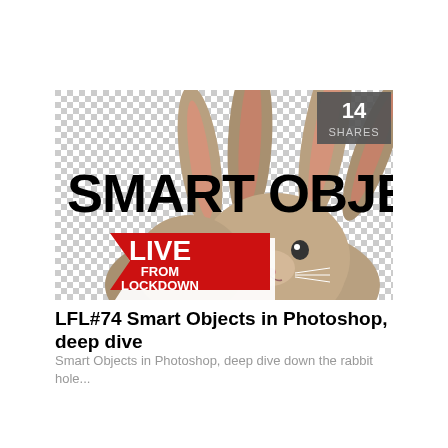[Figure (illustration): Banner image showing two rabbits/bunnies with text 'SMART OBJECTS' in large bold black letters overlaid, a 'LIVE FROM LOCKDOWN' red stamp/badge in lower left, and a dark grey box in upper right showing '14 SHARES'. Background is a checkered pattern (transparent) with the rabbit photo.]
LFL#74 Smart Objects in Photoshop, deep dive
Smart Objects in Photoshop, deep dive down the rabbit hole...